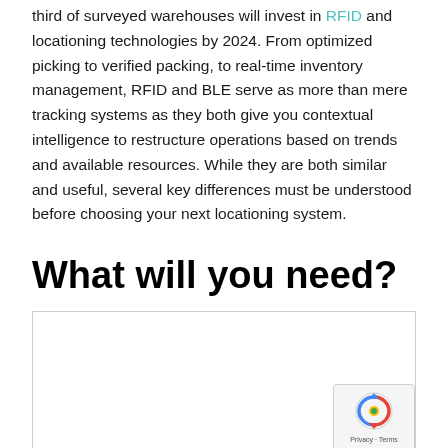third of surveyed warehouses will invest in RFID and locationing technologies by 2024. From optimized picking to verified packing, to real-time inventory management, RFID and BLE serve as more than mere tracking systems as they both give you contextual intelligence to restructure operations based on trends and available resources. While they are both similar and useful, several key differences must be understood before choosing your next locationing system.
What will you need?
[Figure (other): An outlined rectangular box area, likely a form or image placeholder. A reCAPTCHA badge is visible in the bottom-right corner with the Google reCAPTCHA icon and 'Privacy - Terms' text.]